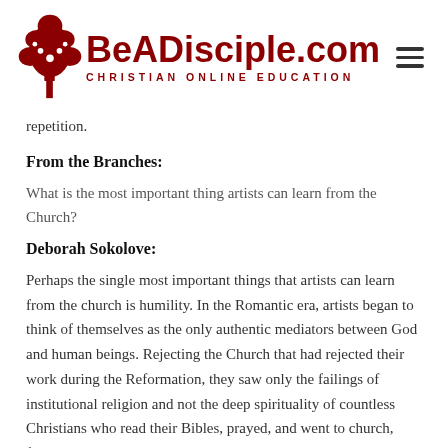BeADisciple.com — CHRISTIAN ONLINE EDUCATION
repetition.
From the Branches:
What is the most important thing artists can learn from the Church?
Deborah Sokolove:
Perhaps the single most important things that artists can learn from the church is humility. In the Romantic era, artists began to think of themselves as the only authentic mediators between God and human beings. Rejecting the Church that had rejected their work during the Reformation, they saw only the failings of institutional religion and not the deep spirituality of countless Christians who read their Bibles, prayed, and went to church, finding